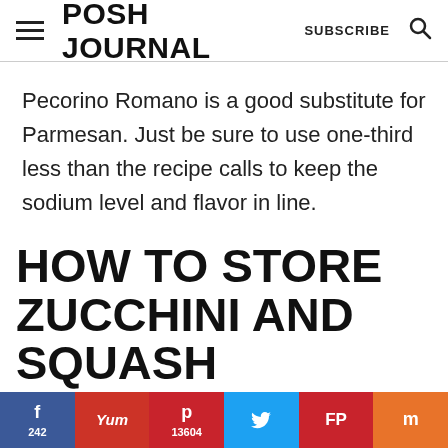POSH JOURNAL
Pecorino Romano is a good substitute for Parmesan. Just be sure to use one-third less than the recipe calls to keep the sodium level and flavor in line.
HOW TO STORE ZUCCHINI AND SQUASH CASSEROLE
f 242 | Yum | p 13604 | Twitter | FP | m